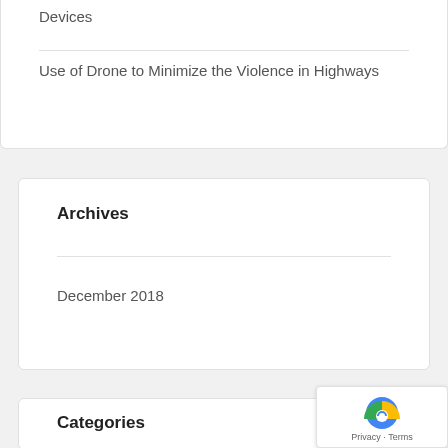Devices
Use of Drone to Minimize the Violence in Highways
Archives
December 2018
Categories